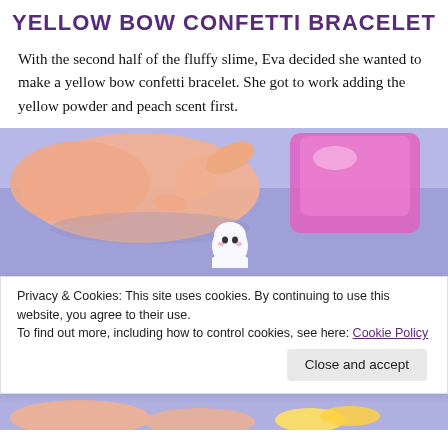YELLOW BOW CONFETTI BRACELET
With the second half of the fluffy slime, Eva decided she wanted to make a yellow bow confetti bracelet. She got to work adding the yellow powder and peach scent first.
[Figure (photo): Close-up photo of hands near a pink slime container on a blue surface, with a small white ghost figure in the foreground.]
Privacy & Cookies: This site uses cookies. By continuing to use this website, you agree to their use.
To find out more, including how to control cookies, see here: Cookie Policy
Close and accept
[Figure (photo): Bottom photo strip showing hands and a yellow object on a blue surface.]